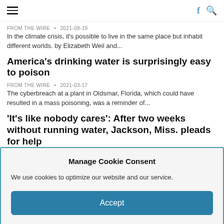Hamburger menu | f | search icon
FROM THE WIRE • 2021-08-19
In the climate crisis, it's possible to live in the same place but inhabit different worlds. by Elizabeth Weil and...
America's drinking water is surprisingly easy to poison
FROM THE WIRE • 2021-03-17
The cyberbreach at a plant in Oldsmar, Florida, which could have resulted in a mass poisoning, was a reminder of...
'It's like nobody cares': After two weeks without running water, Jackson, Miss. pleads for help
FROM THE WIRE • 2021-03-02
"Water is a basic necessity and it just brought a lot of frustration, anger, and disappointment," said one of the...
Manage Cookie Consent
We use cookies to optimize our website and our service.
Accept